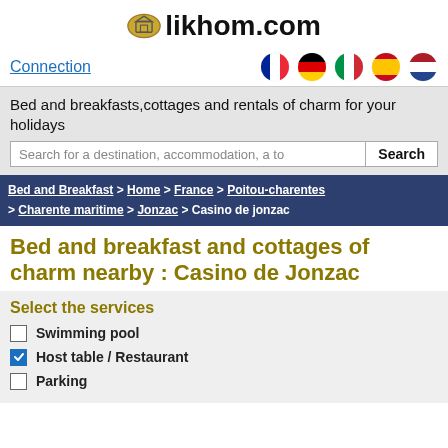[Figure (logo): likhom.com logo with house icon]
Connection
[Figure (illustration): Five country flag circles: France, Germany, Italy, Spain, Netherlands]
Bed and breakfasts,cottages and rentals of charm for your holidays
Search for a destination, accommodation, a to
Search
Bed and Breakfast > Home > France > Poitou-charentes > Charente maritime > Jonzac > Casino de jonzac
Bed and breakfast and cottages of charm nearby : Casino de Jonzac
Select the services
Swimming pool
Host table / Restaurant
Parking